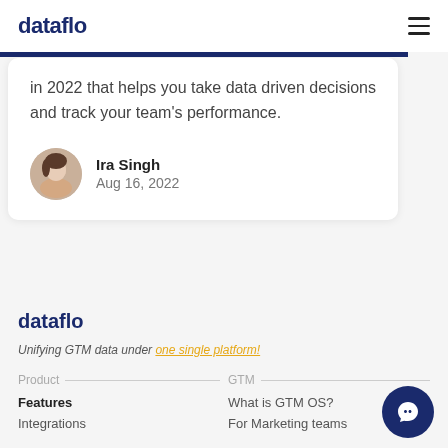dataflo
in 2022 that helps you take data driven decisions and track your team's performance.
Ira Singh
Aug 16, 2022
dataflo
Unifying GTM data under one single platform!
Product
Features
Integrations
GTM
What is GTM OS?
For Marketing teams